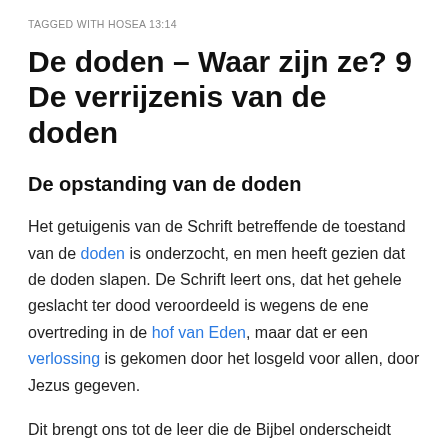TAGGED WITH HOSEA 13:14
De doden – Waar zijn ze? 9 De verrijzenis van de doden
De opstanding van de doden
Het getuigenis van de Schrift betreffende de toestand van de doden is onderzocht, en men heeft gezien dat de doden slapen. De Schrift leert ons, dat het gehele geslacht ter dood veroordeeld is wegens de ene overtreding in de hof van Eden, maar dat er een verlossing is gekomen door het losgeld voor allen, door Jezus gegeven.
Dit brengt ons tot de leer die de Bijbel onderscheidt van alle andere godsdienstige systemen. Deze, gebaseerd op